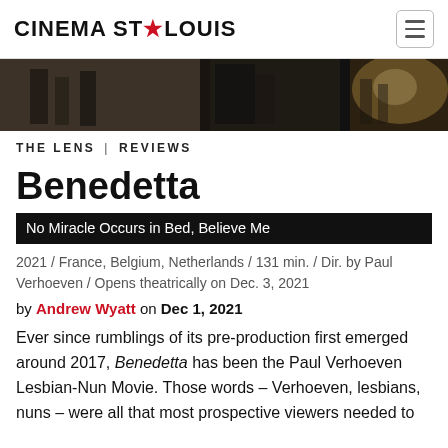CINEMA ST★LOUIS
[Figure (photo): Dark cinematic still image showing figures in what appears to be a historical or religious setting, with lighting effects visible on the right side.]
THE LENS | REVIEWS
Benedetta
No Miracle Occurs in Bed, Believe Me
2021 / France, Belgium, Netherlands / 131 min. / Dir. by Paul Verhoeven / Opens theatrically on Dec. 3, 2021
by Andrew Wyatt on Dec 1, 2021
Ever since rumblings of its pre-production first emerged around 2017, Benedetta has been the Paul Verhoeven Lesbian-Nun Movie. Those words – Verhoeven, lesbians, nuns – were all that most prospective viewers needed to